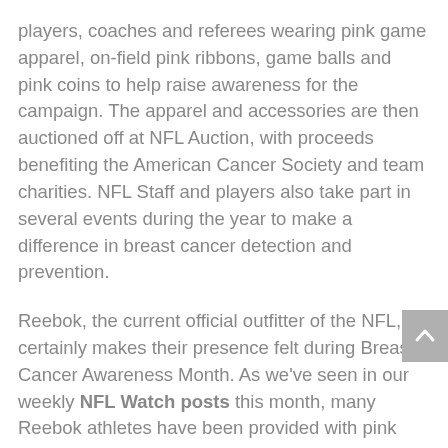players, coaches and referees wearing pink game apparel, on-field pink ribbons, game balls and pink coins to help raise awareness for the campaign. The apparel and accessories are then auctioned off at NFL Auction, with proceeds benefiting the American Cancer Society and team charities. NFL Staff and players also take part in several events during the year to make a difference in breast cancer detection and prevention.
Reebok, the current official outfitter of the NFL, certainly makes their presence felt during Breast Cancer Awareness Month. As we've seen in our weekly NFL Watch posts this month, many Reebok athletes have been provided with pink gloves, cleats and other accessories to show their support for the cause. After seeing athletes like Peyton and Eli Manning, Chad Ochocinco, Joe Flacco, Maurice Jones-Drew and Steve Smith tough it out in pink on Sundays, many fans and football players have been asking when and where they